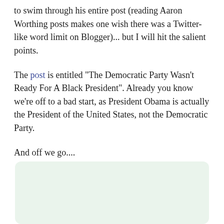to swim through his entire post (reading Aaron Worthing posts makes one wish there was a Twitter-like word limit on Blogger)... but I will hit the salient points.
The post is entitled "The Democratic Party Wasn't Ready For A Black President". Already you know we're off to a bad start, as President Obama is actually the President of the United States, not the Democratic Party.
And off we go....
[Figure (other): A light green rounded rectangle box, empty content area]